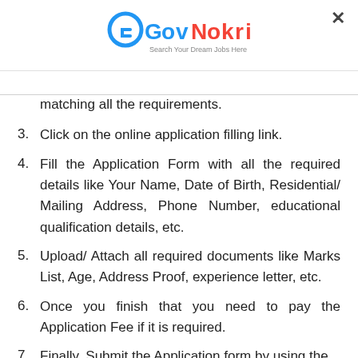[Figure (logo): GovNokri logo with text 'Search Your Dream Jobs Here']
matching all the requirements.
3. Click on the online application filling link.
4. Fill the Application Form with all the required details like Your Name, Date of Birth, Residential/ Mailing Address, Phone Number, educational qualification details, etc.
5. Upload/ Attach all required documents like Marks List, Age, Address Proof, experience letter, etc.
6. Once you finish that you need to pay the Application Fee if it is required.
7. Finally, Submit the Application form by using the